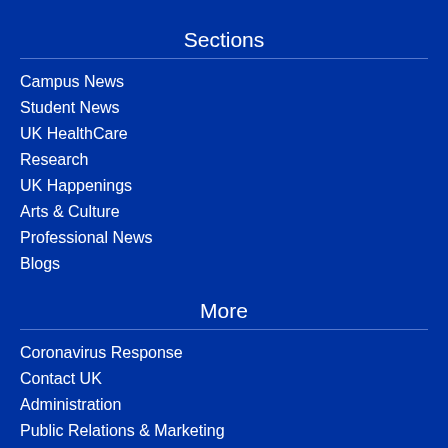Sections
Campus News
Student News
UK HealthCare
Research
UK Happenings
Arts & Culture
Professional News
Blogs
More
Coronavirus Response
Contact UK
Administration
Public Relations & Marketing
Events Director